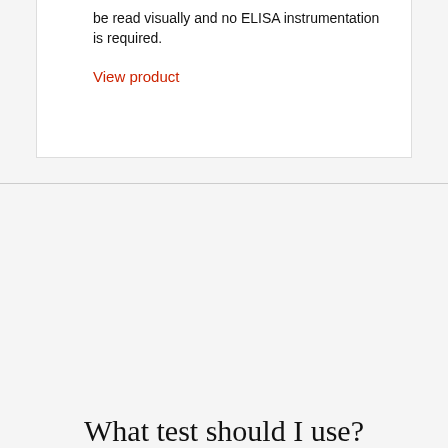be read visually and no ELISA instrumentation is required.
View product
What test should I use?
Choose the Alertys test that's right for your herd
Our website stores cookies on your device and discloses "Customize Settings" to control cookies. We may collect certain aggregate and anonymized data from your browser independent of your cookie preferences. Cookie Statement
Customize Settings    Dairy animals    Accept All    Beef cattle